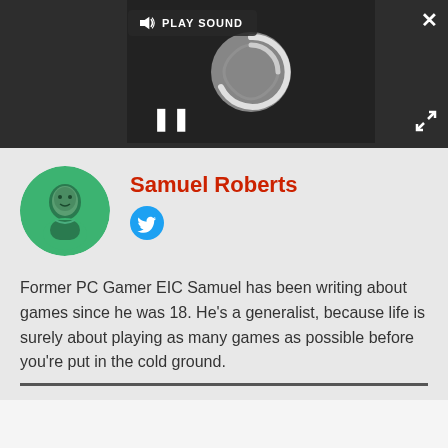[Figure (screenshot): Video player area with dark background showing a loading spinner circle, pause button (||), PLAY SOUND button, close (X) button, and expand arrows button]
Samuel Roberts
[Figure (logo): Twitter bird icon in a blue circle]
Former PC Gamer EIC Samuel has been writing about games since he was 18. He's a generalist, because life is surely about playing as many games as possible before you're put in the cold ground.